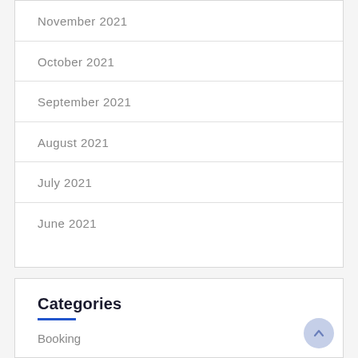November 2021
October 2021
September 2021
August 2021
July 2021
June 2021
Categories
Booking